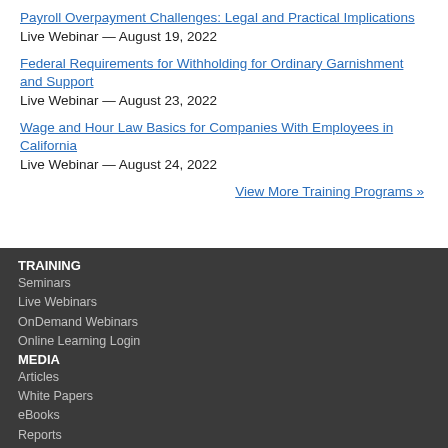Payroll Overpayment Challenges: Legal and Practical Implications
Live Webinar — August 19, 2022
Federal Requirements for Withholding for Ordinary Garnishment and Support
Live Webinar — August 23, 2022
Wage and Hour Law Basics for Companies With Employees in California
Live Webinar — August 24, 2022
View More Training Programs »
TRAINING
Seminars
Live Webinars
OnDemand Webinars
Online Learning Login
MEDIA
Articles
White Papers
eBooks
Reports
RESOURCES
Forms
Helpful Links